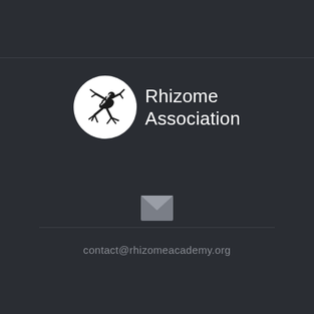[Figure (logo): Rhizome Association logo: a white circle containing a black stylized creature/rhizome figure, with the text 'Rhizome Association' in white to the right]
[Figure (illustration): Grey envelope icon (mail symbol)]
contact@rhizomeacademy.org